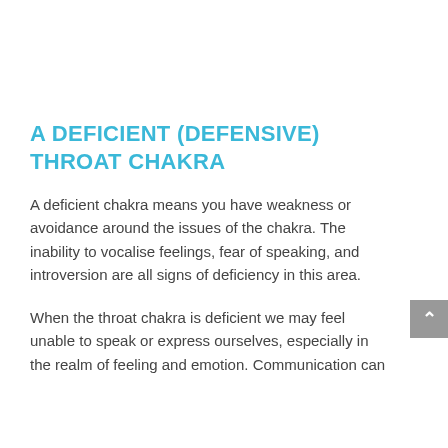A DEFICIENT (DEFENSIVE) THROAT CHAKRA
A deficient chakra means you have weakness or avoidance around the issues of the chakra. The inability to vocalise feelings, fear of speaking, and introversion are all signs of deficiency in this area.
When the throat chakra is deficient we may feel unable to speak or express ourselves, especially in the realm of feeling and emotion. Communication can